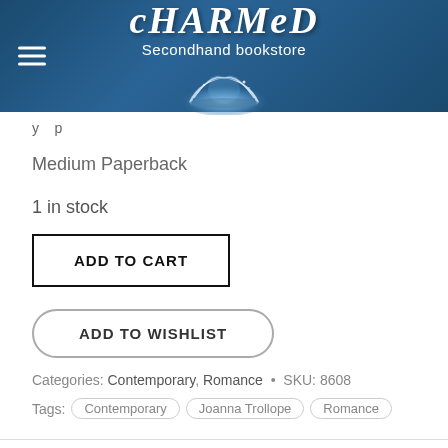[Figure (logo): Charmed Secondhand Bookstore logo with open glowing book illustration on dark blue banner background with hamburger menu icon]
y p
Medium Paperback
1 in stock
ADD TO CART
ADD TO WISHLIST
Categories: Contemporary, Romance • SKU: 8608
Tags: Contemporary  Joanna Trollope  Romance